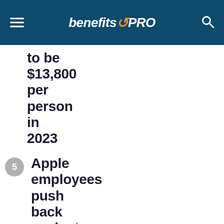benefitsPRO
to be $13,800 per person in 2023
5 Apple employees push back against company's return-to-office policy